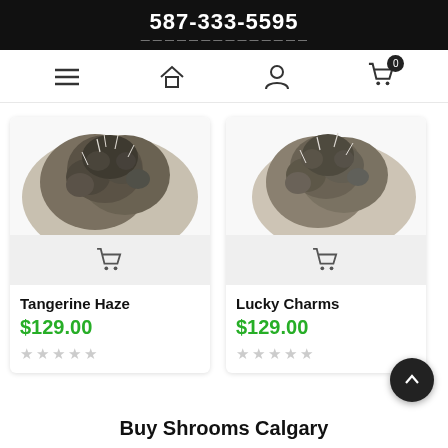587-333-5595
[Figure (screenshot): Navigation bar with hamburger menu, home icon, user icon, and cart icon with badge showing 0]
[Figure (photo): Cannabis bud product photo for Tangerine Haze on white background]
Tangerine Haze
$129.00
[Figure (photo): Cannabis bud product photo for Lucky Charms on white background]
Lucky Charms
$129.00
Buy Shrooms Calgary